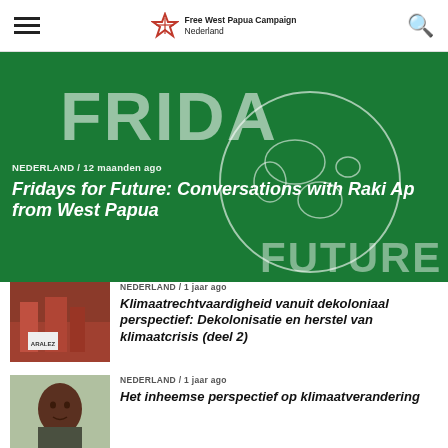Free West Papua Campaign Nederland
[Figure (photo): Fridays for Future banner hero image — green background with globe outline and 'FRIDAYS FOR FUTURE' text overlay]
NEDERLAND / 12 maanden ago
Fridays for Future: Conversations with Raki Ap from West Papua
[Figure (photo): Protest photo with people holding signs including ARALEZ banner]
NEDERLAND / 1 jaar ago
Klimaatrechtvaardigheid vanuit dekoloniaal perspectief: Dekolonisatie en herstel van klimaatcrisis (deel 2)
[Figure (photo): Portrait photo of a man outdoors]
NEDERLAND / 1 jaar ago
Het inheemse perspectief op klimaatverandering
[Figure (photo): Partial thumbnail photo, partially visible]
NEDERLAND / ...